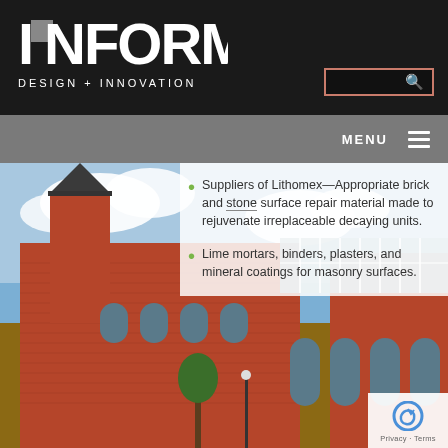[Figure (logo): INFORM Design + Innovation logo on black background with white text and gray square icon]
[Figure (screenshot): Search box with reddish-brown border and magnifying glass icon on black background]
MENU ≡
[Figure (photo): Historic red brick building with Victorian-style architecture, pointed tower, arched windows, against blue sky with clouds]
Suppliers of Lithomex—Appropriate brick and stone surface repair material made to rejuvenate irreplaceable decaying units.
Lime mortars, binders, plasters, and mineral coatings for masonry surfaces.